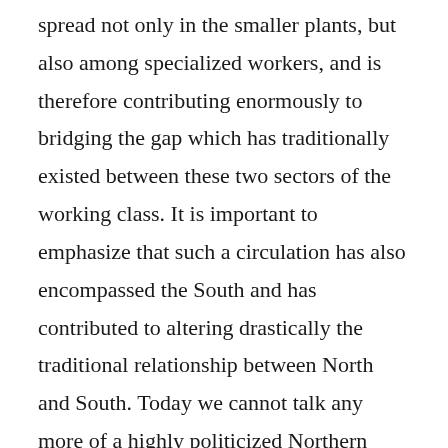spread not only in the smaller plants, but also among specialized workers, and is therefore contributing enormously to bridging the gap which has traditionally existed between these two sectors of the working class. It is important to emphasize that such a circulation has also encompassed the South and has contributed to altering drastically the traditional relationship between North and South. Today we cannot talk any more of a highly politicized Northern working class and a depoliticized Southern working class. The politicization of mass-production workers in the Northern industrial centers has been paralleled by the growth of a subversive potential among the proletarian masses who populate the numerous urban centers in the South. It is still difficult to sociologically characterize these masses. But the political